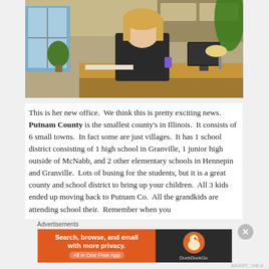[Figure (photo): A woman with blonde hair sitting at a wooden desk in an office, smiling at the camera. The office has a window with plants, bookshelves, computer equipment, and office supplies on the desk.]
This is her new office.  We think this is pretty exciting news.  Putnam County is the smallest county's in Illinois.  It consists of 6 small towns.  In fact some are just villages.  It has 1 school district consisting of 1 high school in Granville, 1 junior high outside of McNabb, and 2 other elementary schools in Hennepin and Granville.  Lots of busing for the students, but it is a great county and school district to bring up your children.  All 3 kids ended up moving back to Putnam Co.  All the grandkids are attending school their.  Remember when you
Advertisements
[Figure (infographic): DuckDuckGo advertisement banner. Left side orange background with white bold text: Search, browse, and email with more privacy. All in One Free App. Right side dark background with DuckDuckGo duck logo.]